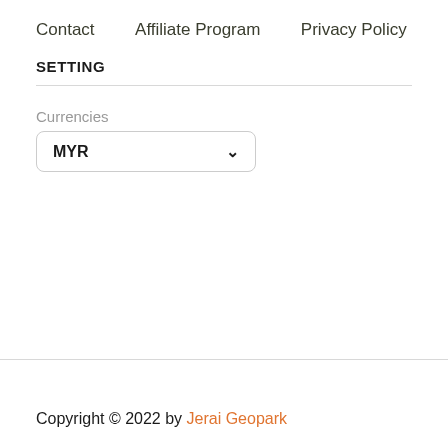Contact
Affiliate Program
Privacy Policy
SETTING
Currencies
MYR
Copyright © 2022 by Jerai Geopark